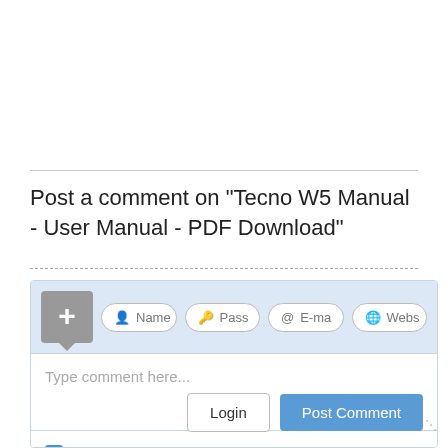Post a comment on "Tecno W5 Manual - User Manual - PDF Download"
[Figure (screenshot): Comment form with user avatar/login fields (Name, Password, E-mail, Website), text area placeholder 'Type comment here...', a 'Notify me of replies' checkbox, Formatting link, Login button, and Post Comment button.]